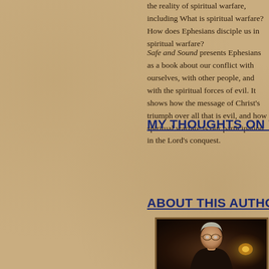the reality of spiritual warfare, including What is spiritual warfare? How does Ephesians disciple us in spiritual warfare?
Safe and Sound presents Ephesians as a book about our conflict with ourselves, with other people, and with the spiritual forces of evil. It shows how the message of Christ's triumph over all that is evil, and how spiritual warfare is our participation in the Lord's conquest.
MY THOUGHTS ON THIS BOO
ABOUT THIS AUTHOR
[Figure (photo): Portrait photo of an older man with glasses and gray/light hair, seated indoors with warm ambient lighting in background]